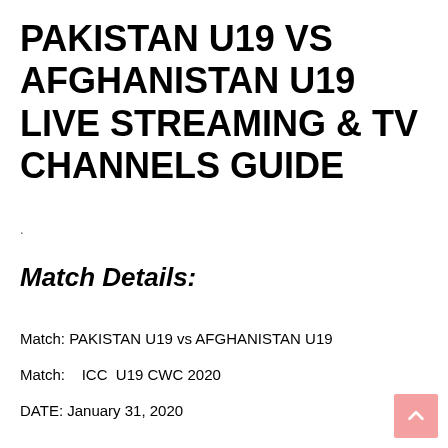PAKISTAN   U19 VS AFGHANISTAN U19 LIVE STREAMING & TV CHANNELS GUIDE
.
Match Details:
Match: PAKISTAN U19 vs AFGHANISTAN U19
Match:    ICC  U19 CWC 2020
DATE: January 31, 2020